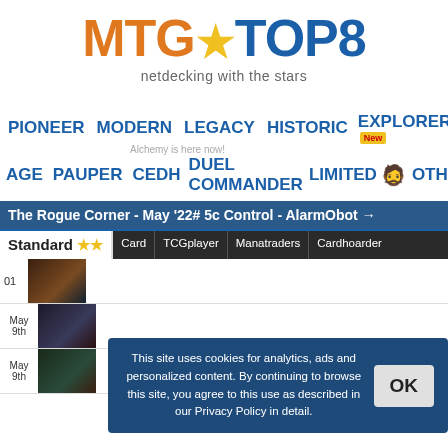[Figure (logo): MTGTop8 logo with orange MTG text, blue TOP text, gold star, blue 8]
netdecking with the stars
PIONEER  MODERN  LEGACY  HISTORIC  EXPLORER New
Alchemy is here now!
AGE  PAUPER  cEDH  DUEL COMMANDER  LIMITED  OTHER SU
The Rogue Corner - May '22# 5c Control - AlarmObot →
Standard ★★
Card  TCGplayer  Manatraders  Cardhoarder
01
May 9th
May 9th
This site uses cookies for analytics, ads and personalized content. By continuing to browse this site, you agree to this use as described in our Privacy Policy in detail.
OK